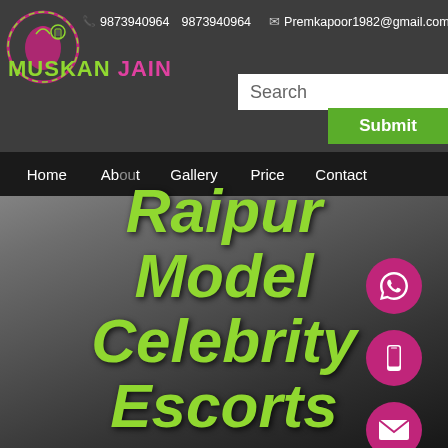9873940964  9873940964  Premkapoor1982@gmail.com
MUSKAN JAIN
Search
Submit
Home  About  Gallery  Price  Contact
Raipur Model Celebrity Escorts